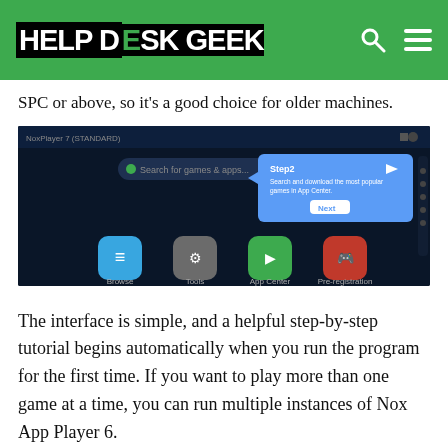HELP DESK GEEK
SPC or above, so it's a good choice for older machines.
[Figure (screenshot): Screenshot of Nox App Player interface showing app icons (Browse, Tools, App Center, Pre-registration) and a Step 2 tutorial popup overlay.]
The interface is simple, and a helpful step-by-step tutorial begins automatically when you run the program for the first time. If you want to play more than one game at a time, you can run multiple instances of Nox App Player 6.
[Figure (photo): NoxPlayer advertisement banner with text 'Every detail matters' and 'NoxPlayer, the perfect Android emulator to play mobile games on PC']